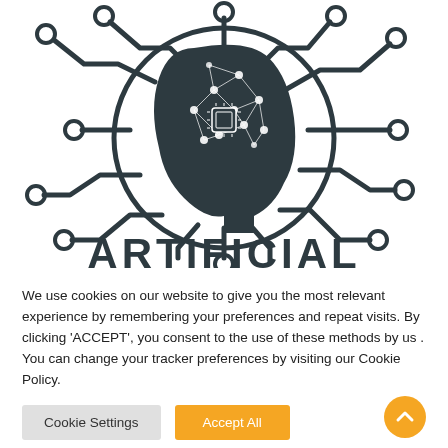[Figure (illustration): AI brain circuit board illustration: dark silhouette of a human head in profile within a circle, with network/neural connections inside the head, and circuit board traces with circular endpoints radiating outward in all directions. Below the circle, large bold text reads 'ARTIFICIAL' partially visible.]
We use cookies on our website to give you the most relevant experience by remembering your preferences and repeat visits. By clicking 'ACCEPT', you consent to the use of these methods by us . You can change your tracker preferences by visiting our Cookie Policy.